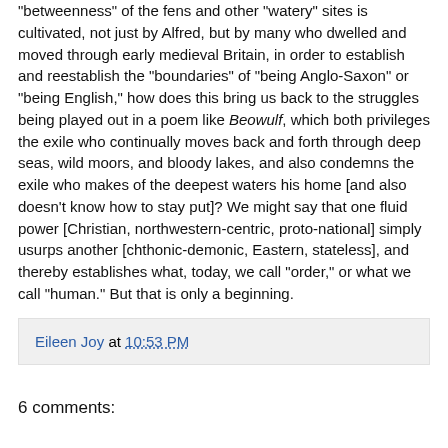"betweenness" of the fens and other "watery" sites is cultivated, not just by Alfred, but by many who dwelled and moved through early medieval Britain, in order to establish and reestablish the "boundaries" of "being Anglo-Saxon" or "being English," how does this bring us back to the struggles being played out in a poem like Beowulf, which both privileges the exile who continually moves back and forth through deep seas, wild moors, and bloody lakes, and also condemns the exile who makes of the deepest waters his home [and also doesn't know how to stay put]? We might say that one fluid power [Christian, northwestern-centric, proto-national] simply usurps another [chthonic-demonic, Eastern, stateless], and thereby establishes what, today, we call "order," or what we call "human." But that is only a beginning.
Eileen Joy at 10:53 PM
6 comments: